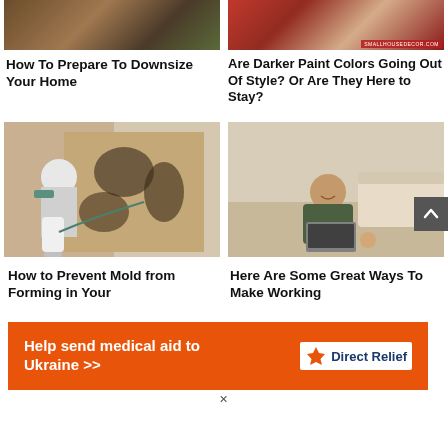[Figure (photo): Aerial view of a wooden deck/house surrounded by trees]
[Figure (photo): Red armchairs and furniture in a living room interior]
How To Prepare To Downsize Your Home
Are Darker Paint Colors Going Out Of Style? Or Are They Here to Stay?
[Figure (photo): Person in protective suit spraying mold on a wall]
[Figure (photo): Man smiling working on laptop on floor of living room]
How to Prevent Mold from Forming in Your
Here Are Some Great Ways To Make Working
[Figure (infographic): Direct Relief advertisement banner: Help send medical aid to Ukraine]